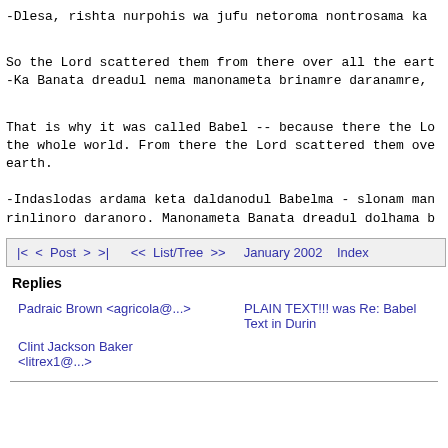-Dlesa, rishta nurpohis wa jufu netoroma nontrosama ka
So the Lord scattered them from there over all the eart
-Ka Banata dreadul nema manonameta brinamre daranamre,
That is why it was called Babel -- because there the Lo
the whole world. From there the Lord scattered them ove
earth.
-Indaslodas ardama keta daldanodul Babelma - slonam man
rinlinoro daranoro. Manonameta Banata dreadul dolhama b
| |< | < | Post | > | >| | << | List/Tree | >> | January 2002 | Index |
| --- | --- | --- | --- | --- | --- | --- | --- | --- | --- |
Replies
| Author | Subject |
| --- | --- |
| Padraic Brown <agricola@...> | PLAIN TEXT!!! was Re: Babel Text in Durin |
| Clint Jackson Baker <litrex1@...> |  |